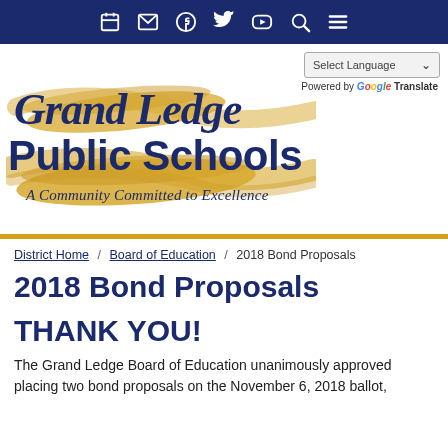Navigation bar with icons: calendar, email, Facebook, Twitter, YouTube, search, menu
[Figure (logo): Grand Ledge Public Schools logo — stylized script text in navy blue and gold brush strokes, with tagline 'A Community Committed to Excellence']
Powered by Google Translate
District Home / Board of Education / 2018 Bond Proposals
2018 Bond Proposals
THANK YOU!
The Grand Ledge Board of Education unanimously approved placing two bond proposals on the November 6, 2018 ballot,